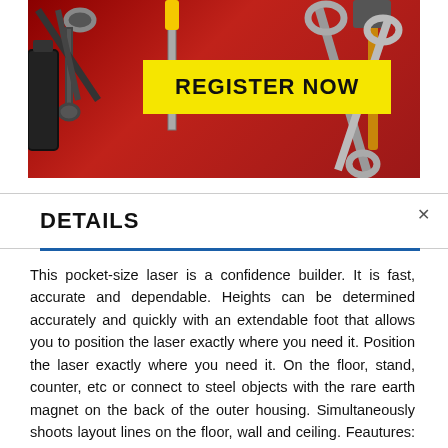[Figure (photo): Banner image of tools (wrenches, pliers, screwdrivers) on a red background with a yellow 'REGISTER NOW' button overlaid in the center]
DETAILS
This pocket-size laser is a confidence builder. It is fast, accurate and dependable. Heights can be determined accurately and quickly with an extendable foot that allows you to position the laser exactly where you need it. Position the laser exactly where you need it. On the floor, stand, counter, etc or connect to steel objects with the rare earth magnet on the back of the outer housing. Simultaneously shoots layout lines on the floor, wall and ceiling. Feautures: Thin, sharp lines visible up to 60'; Vertical beam is visible